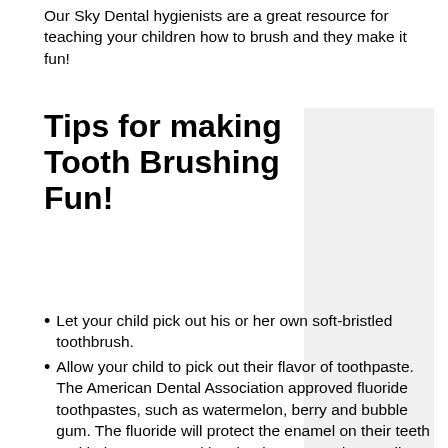Our Sky Dental hygienists are a great resource for teaching your children how to brush and they make it fun!
Tips for making Tooth Brushing Fun!
[Figure (photo): Image placeholder area beside the title block]
Let your child pick out his or her own soft-bristled toothbrush.
Allow your child to pick out their flavor of toothpaste. The American Dental Association approved fluoride toothpastes, such as watermelon, berry and bubble gum. The fluoride will protect the enamel on their teeth and help prevent cavities, but it's not good to swallow. Have fun teaching your kids how to spit and rinse, so they don't swallow the toothpaste.